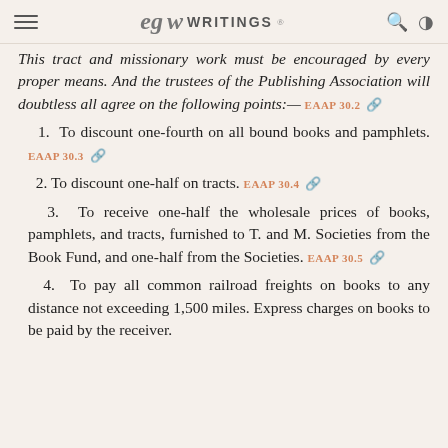EGW WRITINGS
This tract and missionary work must be encouraged by every proper means. And the trustees of the Publishing Association will doubtless all agree on the following points:— EAAP 30.2
1. To discount one-fourth on all bound books and pamphlets. EAAP 30.3
2. To discount one-half on tracts. EAAP 30.4
3. To receive one-half the wholesale prices of books, pamphlets, and tracts, furnished to T. and M. Societies from the Book Fund, and one-half from the Societies. EAAP 30.5
4. To pay all common railroad freights on books to any distance not exceeding 1,500 miles. Express charges on books to be paid by the receiver.